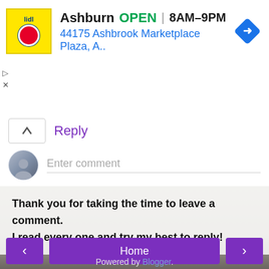[Figure (screenshot): Lidl advertisement banner showing store location: Ashburn, OPEN, 8AM-9PM, 44175 Ashbrook Marketplace Plaza, A.. with Lidl logo and navigation arrow icon]
Reply
Enter comment
Thank you for taking the time to leave a comment.
I read every one and try my best to reply!
Home
View web version
Powered by Blogger.